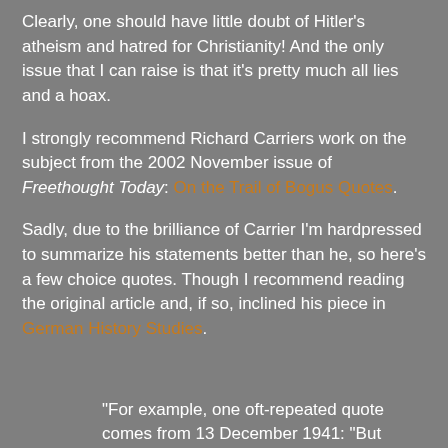Clearly, one should have little doubt of Hitler's atheism and hatred for Christianity! And the only issue that I can raise is that it's pretty much all lies and a hoax.
I strongly recommend Richard Carriers work on the subject from the 2002 November issue of Freethought Today: On the Trail of Bogus Quotes.
Sadly, due to the brilliance of Carrier I'm hardpressed to summarize his statements better than he, so here's a few choice quotes. Though I recommend reading the original article and, if so, inclined his piece in German History Studies.
"For example, one oft-repeated quote comes from 13 December 1941: "But Christianity is an invention of sick brains: one could imagine nothing more senseless, nor any more indecent way of turning the idea of the Godhead into a mockery" (Stevens and Cameron's English, again